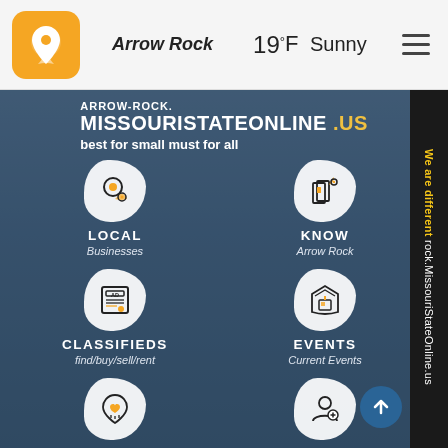Arrow Rock  19°F Sunny
ARROW-ROCK. MISSOURISTATEONLINE .US
best for small must for all
[Figure (infographic): Icon grid with 6 items: LOCAL (Businesses), KNOW (Arrow Rock), CLASSIFIEDS (find/buy/sell/rent), EVENTS (Current Events), TRIBUTES OBITUARIES, ADD BUSINESS (get free business...)]
We are different rock.MissouriStateOnline.us